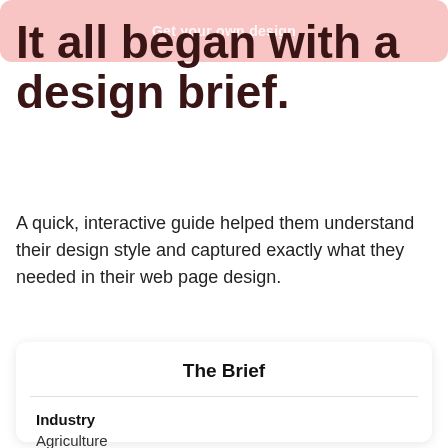Get your own design
It all began with a design brief.
A quick, interactive guide helped them understand their design style and captured exactly what they needed in their web page design.
The Brief
Industry
Agriculture